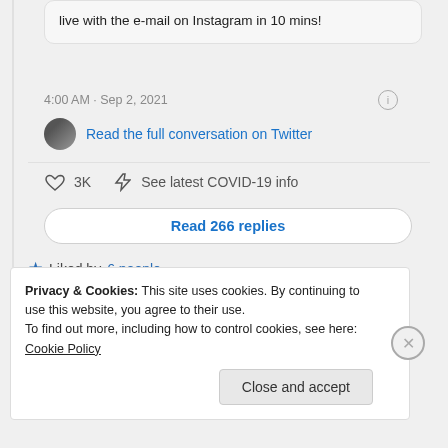live with the e-mail on Instagram in 10 mins!
4:00 AM · Sep 2, 2021
Read the full conversation on Twitter
♡ 3K  ⚡ See latest COVID-19 info
Read 266 replies
Liked by 6 people
↪ Reply
Privacy & Cookies: This site uses cookies. By continuing to use this website, you agree to their use.
To find out more, including how to control cookies, see here: Cookie Policy
Close and accept